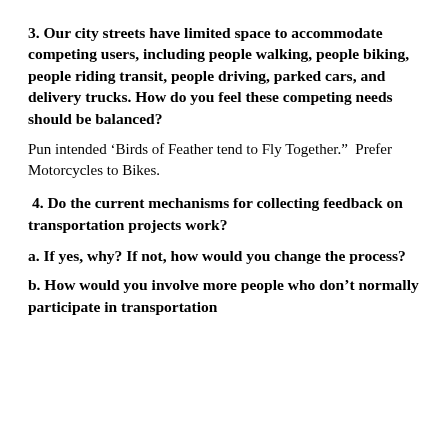3. Our city streets have limited space to accommodate competing users, including people walking, people biking, people riding transit, people driving, parked cars, and delivery trucks. How do you feel these competing needs should be balanced?
Pun intended ‘Birds of Feather tend to Fly Together.”  Prefer Motorcycles to Bikes.
4. Do the current mechanisms for collecting feedback on transportation projects work?
a. If yes, why? If not, how would you change the process?
b. How would you involve more people who don’t normally participate in transportation